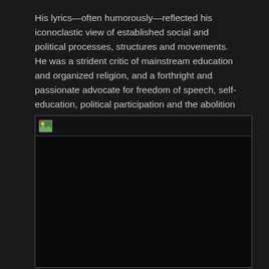His lyrics—often humorously—reflected his iconoclastic view of established social and political processes, structures and movements. He was a strident critic of mainstream education and organized religion, and a forthright and passionate advocate for freedom of speech, self-education, political participation and the abolition of censorship. (wiki)
[Figure (photo): A broken/unloaded image placeholder with a small broken image icon in the top-left corner, shown within a bordered dark frame on a dark background.]